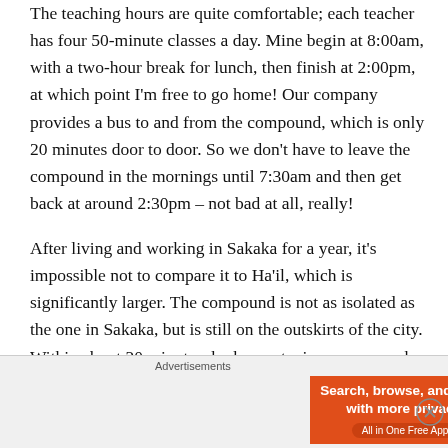The teaching hours are quite comfortable; each teacher has four 50-minute classes a day. Mine begin at 8:00am, with a two-hour break for lunch, then finish at 2:00pm, at which point I'm free to go home! Our company provides a bus to and from the compound, which is only 20 minutes door to door. So we don't have to leave the compound in the mornings until 7:30am and then get back at around 2:30pm – not bad at all, really!
After living and working in Sakaka for a year, it's impossible not to compare it to Ha'il, which is significantly larger. The compound is not as isolated as the one in Sakaka, but is still on the outskirts of the city. Within about 20 minutes, by bus or taxi, you can reach the centre of
Advertisements
[Figure (other): DuckDuckGo advertisement banner: orange left panel with text 'Search, browse, and email with more privacy. All in One Free App' and dark right panel with DuckDuckGo logo and text 'DuckDuckGo']